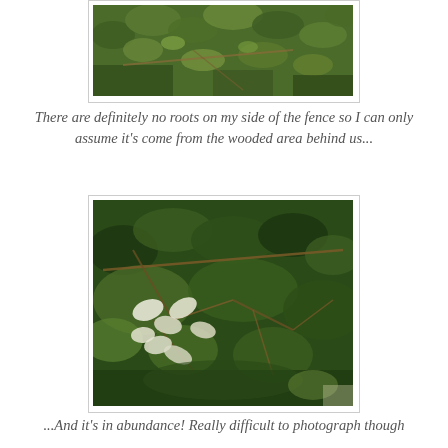[Figure (photo): Close-up photo of green leafy branches and foliage, partially cropped at top of page]
There are definitely no roots on my side of the fence so I can only assume it's come from the wooded area behind us...
[Figure (photo): Photo of dense green foliage and branches with some white leaves or flowers visible against a dark leafy background]
...And it's in abundance! Really difficult to photograph though